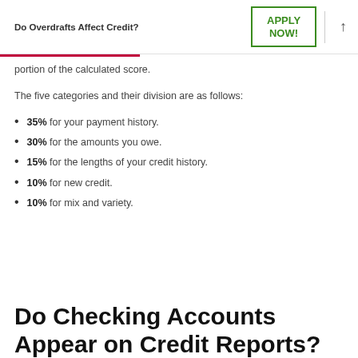Do Overdrafts Affect Credit? | APPLY NOW!
portion of the calculated score.
The five categories and their division are as follows:
35% for your payment history.
30% for the amounts you owe.
15% for the lengths of your credit history.
10% for new credit.
10% for mix and variety.
Do Checking Accounts Appear on Credit Reports?